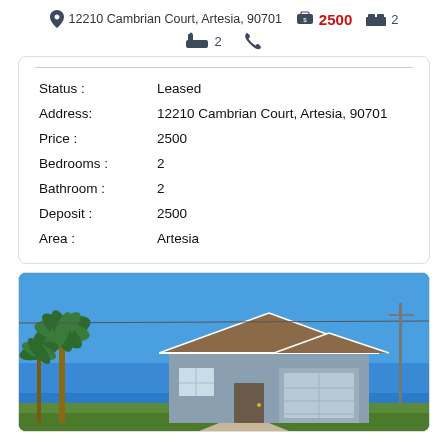12210 Cambrian Court, Artesia, 90701   2500   2
2   (phone)
| Field | Value |
| --- | --- |
| Status : | Leased |
| Address: | 12210 Cambrian Court, Artesia, 90701 |
| Price : | 2500 |
| Bedrooms : | 2 |
| Bathroom : | 2 |
| Deposit : | 2500 |
| Area : | Artesia |
[Figure (photo): Exterior photo of a single-story house with a gabled roof, light blue/grey siding, white trim, and palm trees on the left side under a clear blue sky.]